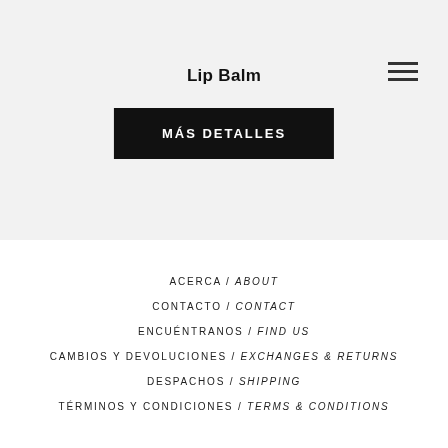Lip Balm
MÁS DETALLES
ACERCA / ABOUT
CONTACTO / CONTACT
ENCUÉNTRANOS / FIND US
CAMBIOS Y DEVOLUCIONES / EXCHANGES & RETURNS
DESPACHOS / SHIPPING
TÉRMINOS Y CONDICIONES / TERMS & CONDITIONS